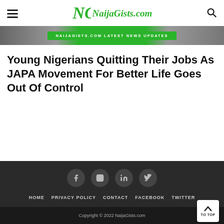NaijaGists.com
[Figure (photo): Green banner with text: NAIJAGISTS.COM LATEST NEWS UPDATES, with background faces/people on left and right]
Young Nigerians Quitting Their Jobs As JAPA Movement For Better Life Goes Out Of Control
[Figure (other): Social media icon circles: Facebook, Instagram, LinkedIn, Twitter]
HOME   PRIVACY POLICY   CONTACT   FACEBOOK   TWITTER
Copyright © 2022 NaijaGists.com